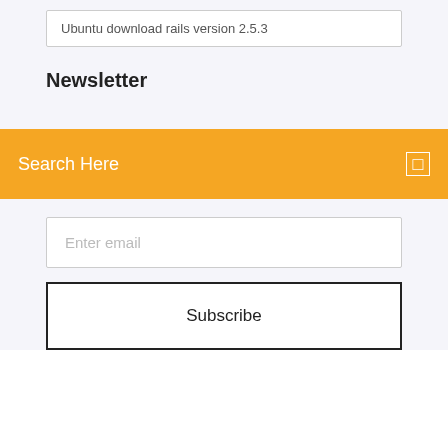Ubuntu download rails version 2.5.3
Newsletter
Search Here
Enter email
Subscribe